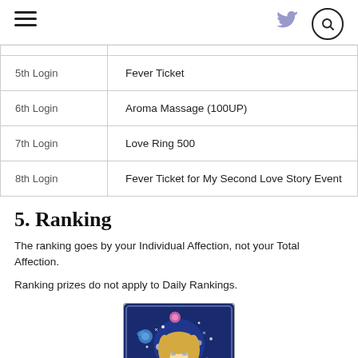Navigation header with hamburger menu, Twitter icon, and search button
| Login | Reward |
| --- | --- |
| 5th Login | Fever Ticket |
| 6th Login | Aroma Massage (100UP) |
| 7th Login | Love Ring 500 |
| 8th Login | Fever Ticket for My Second Love Story Event |
5. Ranking
The ranking goes by your Individual Affection, not your Total Affection.
Ranking prizes do not apply to Daily Rankings.
[Figure (illustration): Anime-style character card with a blonde character surrounded by flowers (blue rose, pink flower) and sparkles on a dark blue background with decorative frame border]